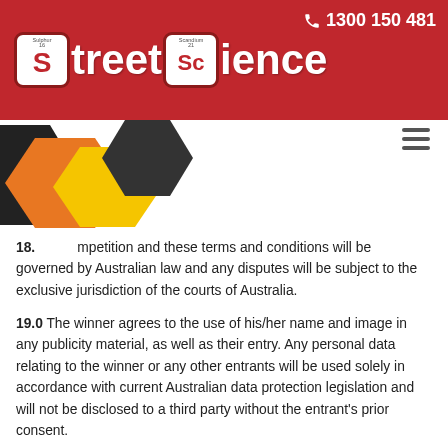[Figure (logo): Street Science logo with phone number 1300 150 481 on dark red header background with honeycomb decoration]
18. ...petition and these terms and conditions will be governed by Australian law and any disputes will be subject to the exclusive jurisdiction of the courts of Australia.
19.0 The winner agrees to the use of his/her name and image in any publicity material, as well as their entry. Any personal data relating to the winner or any other entrants will be used solely in accordance with current Australian data protection legislation and will not be disclosed to a third party without the entrant's prior consent.
20.0 Entry into the competition will be deemed as acceptance of these terms and conditions.
21.0 This promotion is in no way sponsored, endorsed or administered by, or associated with, Facebook, Instagram or any other Social Network. You are providing your information to Street